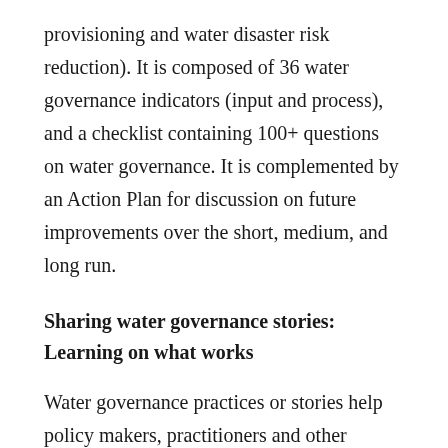provisioning and water disaster risk reduction). It is composed of 36 water governance indicators (input and process), and a checklist containing 100+ questions on water governance. It is complemented by an Action Plan for discussion on future improvements over the short, medium, and long run.
Sharing water governance stories: Learning on what works
Water governance practices or stories help policy makers, practitioners and other stakeholders learn from each other and identify pitfalls to avoid when designing and implementing water policies.